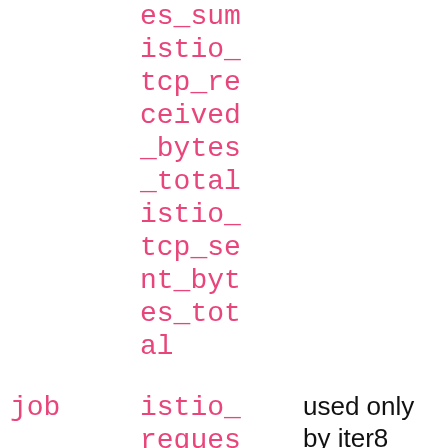|  | Metric | Description |
| --- | --- | --- |
|  | es_sum
istio_
tcp_re
ceived
_bytes
_total
istio_
tcp_se
nt_byt
es_tot
al |  |
| job | istio_
reques
t_dura
tion_m
illise | used only by iter8 extension |